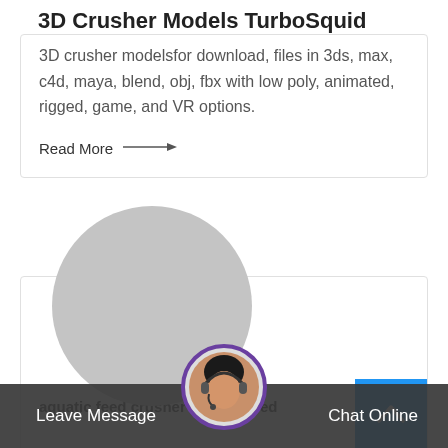3D Crusher Models TurboSquid
3D crusher modelsfor download, files in 3ds, max, c4d, maya, blend, obj, fbx with low poly, animated, rigged, game, and VR options.
Read More →
[Figure (photo): Large gray circle placeholder image, partially overlapping a card below]
aquatic feed crusher aquatic feed
Leave Message   Chat Online